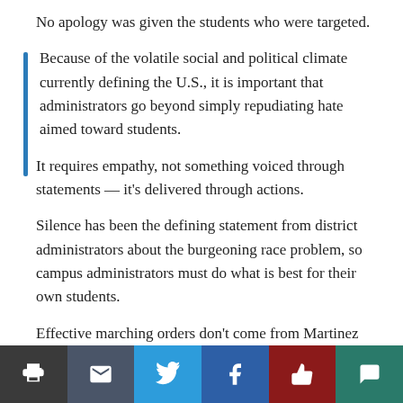No apology was given the students who were targeted.
Because of the volatile social and political climate currently defining the U.S., it is important that administrators go beyond simply repudiating hate aimed toward students.
It requires empathy, not something voiced through statements — it's delivered through actions.
Silence has been the defining statement from district administrators about the burgeoning race problem, so campus administrators must do what is best for their own students.
Effective marching orders don't come from Martinez regarding racial issues.
The difference in the initial statements by Dr. Lamb and